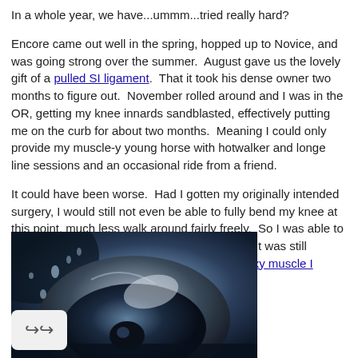In a whole year, we have...ummm...tried really hard?
Encore came out well in the spring, hopped up to Novice, and was going strong over the summer.  August gave us the lovely gift of a pulled SI ligament.  That it took his dense owner two months to figure out.  November rolled around and I was in the OR, getting my knee innards sandblasted, effectively putting me on the curb for about two months.  Meaning I could only provide my muscle-y young horse with hotwalker and longe line sessions and an occasional ride from a friend.
It could have been worse.  Had I gotten my originally intended surgery, I would still not even be able to fully bend my knee at this point, much less walk around fairly freely.  So I was able to start actually Riding Properly in mid-January.  It was still enough time for Encore to lose a lot of that sexy muscle I worked so hard for.
[Figure (photo): Close-up photo of what appears to be a horse's eye or joint area, dark metallic/blue tones with water droplets visible on a dark curved surface]